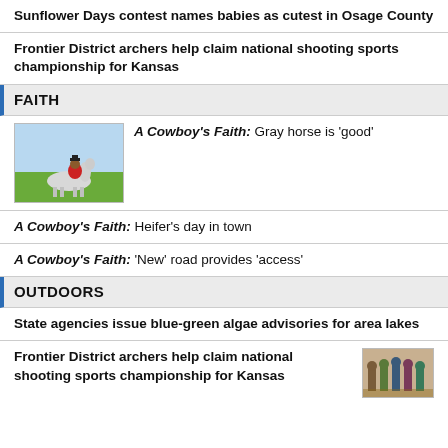Sunflower Days contest names babies as cutest in Osage County
Frontier District archers help claim national shooting sports championship for Kansas
FAITH
A Cowboy's Faith: Gray horse is 'good'
[Figure (photo): Person on a white/gray horse in a green field]
A Cowboy's Faith: Heifer's day in town
A Cowboy's Faith: 'New' road provides 'access'
OUTDOORS
State agencies issue blue-green algae advisories for area lakes
Frontier District archers help claim national shooting sports championship for Kansas
[Figure (photo): Group photo of archers]